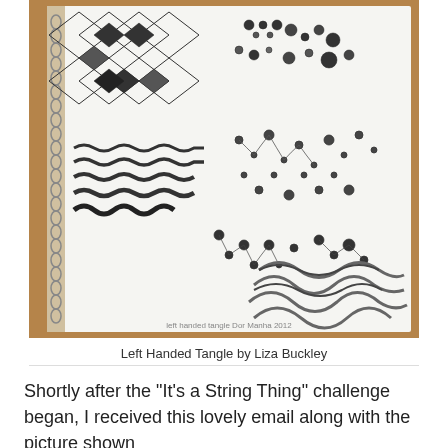[Figure (photo): Photograph of a spiral-bound sketchbook page showing various zentangle/tangle patterns drawn in black ink: geometric lattice patterns at the top, wavy horizontal stroke patterns on the left middle, scattered small floral/star shapes across the middle, and flowing ribbon-like curvy patterns at the bottom right. The sketchbook has spiral binding visible on the left side.]
Left Handed Tangle by Liza Buckley
Shortly after the "It's a String Thing" challenge began, I received this lovely email along with the picture shown